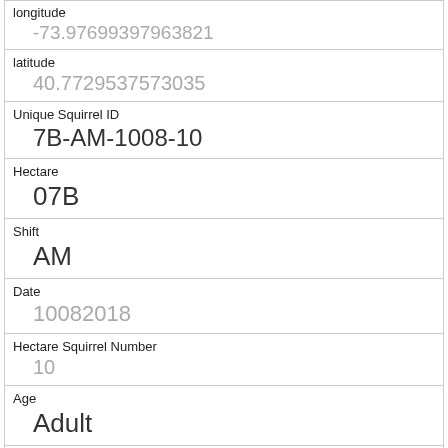| longitude | -73.97699397963821 |
| latitude | 40.7729537573035 |
| Unique Squirrel ID | 7B-AM-1008-10 |
| Hectare | 07B |
| Shift | AM |
| Date | 10082018 |
| Hectare Squirrel Number | 10 |
| Age | Adult |
| Primary Fur Color | Gray |
| Highlight Fur Color |  |
| Combination of Primary and Highlight Color |  |